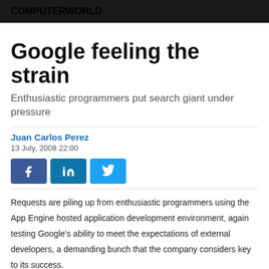COMPUTERWORLD
Google feeling the strain
Enthusiastic programmers put search giant under pressure
Juan Carlos Perez
13 July, 2008 22:00
[Figure (infographic): Social sharing buttons: Facebook, LinkedIn, Twitter]
Requests are piling up from enthusiastic programmers using the App Engine hosted application development environment, again testing Google's ability to meet the expectations of external developers, a demanding bunch that the company considers key to its success.